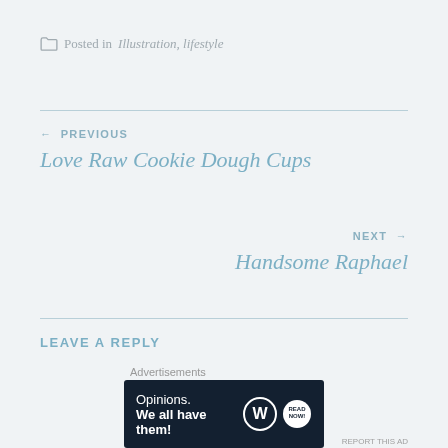Posted in Illustration, lifestyle
← PREVIOUS
Love Raw Cookie Dough Cups
NEXT →
Handsome Raphael
LEAVE A REPLY
Your email address will not be published. Required fields are marked *
[Figure (other): Advertisement banner with WordPress logo: Opinions. We all have them!]